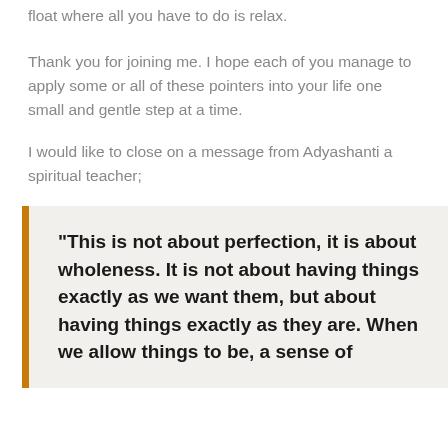Thank you for joining me. I hope each of you manage to apply some or all of these pointers into your life one small and gentle step at a time.
I would like to close on a message from Adyashanti a spiritual teacher;
"This is not about perfection, it is about wholeness. It is not about having things exactly as we want them, but about having things exactly as they are. When we allow things to be, a sense of